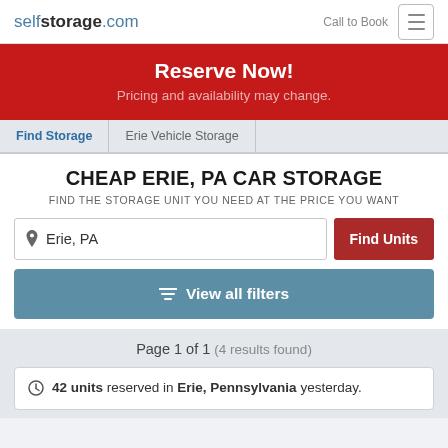selfstorage.com  Call to Book
Reserve Now!
Pricing and availability may change.
Find Storage  Erie Vehicle Storage
CHEAP ERIE, PA CAR STORAGE
FIND THE STORAGE UNIT YOU NEED AT THE PRICE YOU WANT
Erie, PA  Find Units
View all filters
Page 1 of 1 (4 results found)
42 units reserved in Erie, Pennsylvania yesterday.